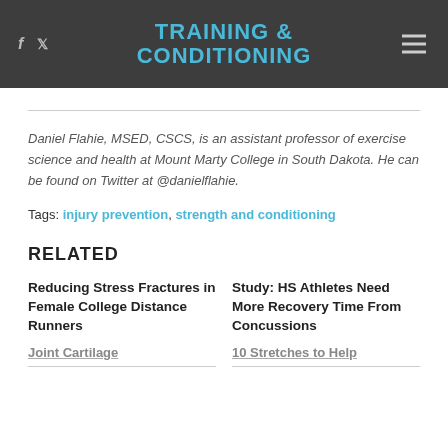TRAINING & CONDITIONING
Daniel Flahie, MSED, CSCS, is an assistant professor of exercise science and health at Mount Marty College in South Dakota. He can be found on Twitter at @danielflahie.
Tags: injury prevention, strength and conditioning
RELATED
Reducing Stress Fractures in Female College Distance Runners
Study: HS Athletes Need More Recovery Time From Concussions
Joint Cartilage
10 Stretches to Help